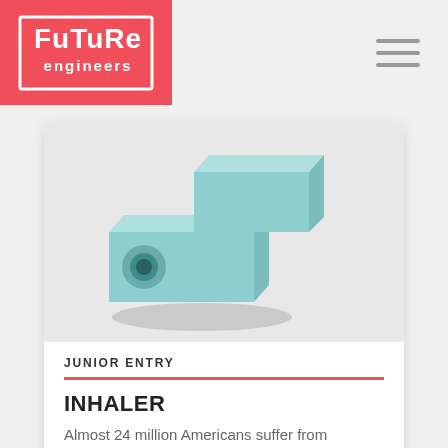Future Engineers
[Figure (illustration): 3D rendered teal/light-blue L-shaped inhaler device with a circular opening on the front face, casting a shadow on a white background]
JUNIOR ENTRY
INHALER
Almost 24 million Americans suffer from asthma. Asthma is a respiratory condition in which...
VIEW DETAIL